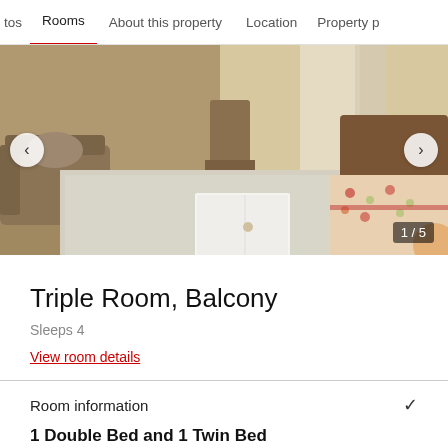tos   Rooms   About this property   Location   Property p
[Figure (photo): Hotel triple room interior showing a double bed with floral bedding, a sofa/armchair on the left, a chair and window in the background, with a document on the bed. Image counter shows 1/5.]
Triple Room, Balcony
Sleeps 4
View room details
Room information
1 Double Bed and 1 Twin Bed
161-sq-foot room, balcony with pool views